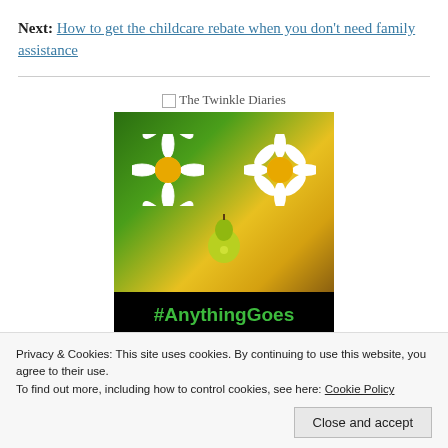Next: How to get the childcare rebate when you don't need family assistance
[Figure (illustration): The Twinkle Diaries badge image: a black square with a photo of two white daisies with yellow centers and a glowing pear on a green and yellow flowery background, with '#AnythingGoes' in green text at the bottom]
Advertisements
Privacy & Cookies: This site uses cookies. By continuing to use this website, you agree to their use.
To find out more, including how to control cookies, see here: Cookie Policy
Close and accept